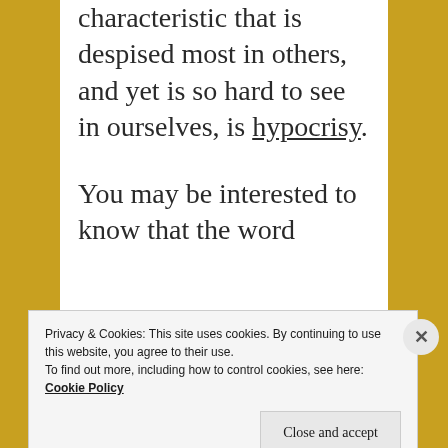characteristic that is despised most in others, and yet is so hard to see in ourselves, is hypocrisy.
You may be interested to know that the word
Privacy & Cookies: This site uses cookies. By continuing to use this website, you agree to their use.
To find out more, including how to control cookies, see here: Cookie Policy

Close and accept